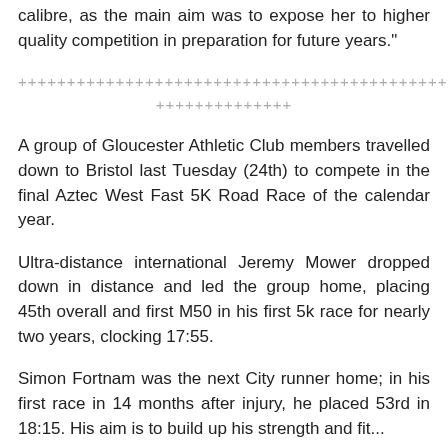calibre, as the main aim was to expose her to higher quality competition in preparation for future years."
++++++++++++++++++++++++++++++++++++++++++++
++++++++++++++
A group of Gloucester Athletic Club members travelled down to Bristol last Tuesday (24th) to compete in the final Aztec West Fast 5K Road Race of the calendar year.
Ultra-distance international Jeremy Mower dropped down in distance and led the group home, placing 45th overall and first M50 in his first 5k race for nearly two years, clocking 17:55.
Simon Fortnam was the next City runner home; in his first race in 14 months after injury, he placed 53rd in 18:15. His aim is to build up his strength and fit...